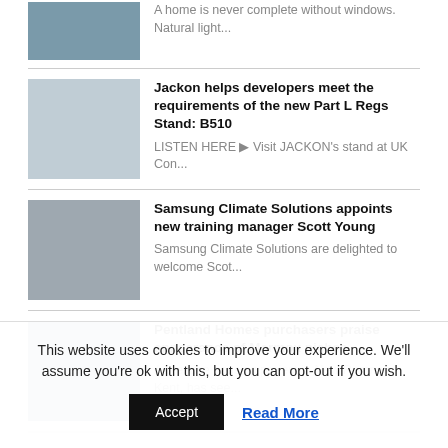A home is never complete without windows. Natural light...
Jackon helps developers meet the requirements of the new Part L Regs Stand: B510 — LISTEN HERE ▶ Visit JACKON's stand at UK Con...
Samsung Climate Solutions appoints new training manager Scott Young — Samsung Climate Solutions are delighted to welcome Scot...
Pentland Homes purchasers praise appearance of Marmox niches — A prestige housing project in New Romney, Kent, has see...
Media Pack
This website uses cookies to improve your experience. We'll assume you're ok with this, but you can opt-out if you wish.